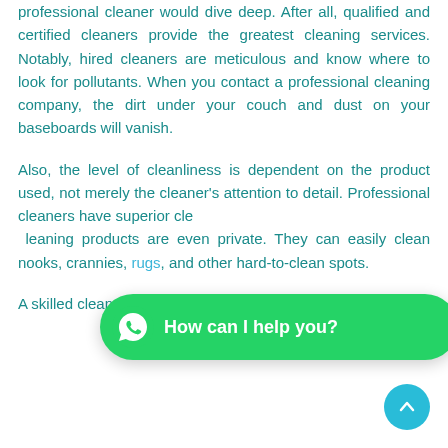professional cleaner would dive deep. After all, qualified and certified cleaners provide the greatest cleaning services. Notably, hired cleaners are meticulous and know where to look for pollutants. When you contact a professional cleaning company, the dirt under your couch and dust on your baseboards will vanish.
Also, the level of cleanliness is dependent on the product used, not merely the cleaner's attention to detail. Professional cleaners have superior cleaning products than most do. Some cleaning products are even private. They can easily clean nooks, crannies, rugs, and other hard-to-clean spots.
A skilled cleaner can restore your tiles
[Figure (other): WhatsApp chat bubble overlay with green background saying 'How can I help you?' with WhatsApp icon]
[Figure (other): Cyan circular scroll-to-top button with upward chevron arrow]